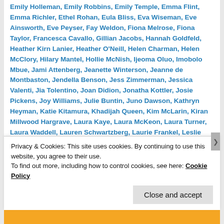Emily Holleman, Emily Robbins, Emily Temple, Emma Flint, Emma Richler, Ethel Rohan, Eula Bliss, Eva Wiseman, Eve Ainsworth, Eve Peyser, Fay Weldon, Fiona Melrose, Fiona Taylor, Francesca Cavallo, Gillian Jacobs, Hannah Goldfeld, Heather Kirn Lanier, Heather O'Neill, Helen Charman, Helen McClory, Hilary Mantel, Hollie McNish, Ijeoma Oluo, Imobolo Mbue, Jami Attenberg, Jeanette Winterson, Jeanne de Montbaston, Jendella Benson, Jess Zimmerman, Jessica Valenti, Jia Tolentino, Joan Didion, Jonatha Kottler, Josie Pickens, Joy Williams, Julie Buntin, Juno Dawson, Kathryn Heyman, Katie Kitamura, Khadijah Queen, Kim McLarin, Kiran Millwood Hargrave, Laura Kaye, Laura McKeon, Laura Turner, Laura Waddell, Lauren Schwartzberg, Laurie Frankel, Leslie Jamison, Lidia Yuknavitch, Linda Besner, Linda Grant, Lisa Miller, Lizzy Kremer, Lola Okolosie, Louise O'Neill, Lucy Mangan, Madelaine Thien, Maggie Nelson, Mallory...
Privacy & Cookies: This site uses cookies. By continuing to use this website, you agree to their use. To find out more, including how to control cookies, see here: Cookie Policy